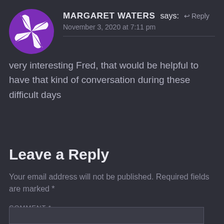[Figure (illustration): Purple circular avatar with a white windmill/pinwheel star shape cutout design]
MARGARET WATERS says:  ↩ Reply
November 3, 2020 at 7:11 pm
very interesting Fred, that would be helpful to have that kind of conversation during these difficult days
Leave a Reply
Your email address will not be published. Required fields are marked *
COMMENT *